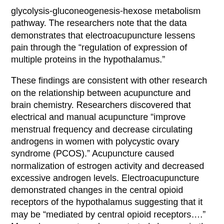glycolysis-gluconeogenesis-hexose metabolism pathway. The researchers note that the data demonstrates that electroacupuncture lessens pain through the “regulation of expression of multiple proteins in the hypothalamus.”
These findings are consistent with other research on the relationship between acupuncture and brain chemistry. Researchers discovered that electrical and manual acupuncture “improve menstrual frequency and decrease circulating androgens in women with polycystic ovary syndrome (PCOS).” Acupuncture caused normalization of estrogen activity and decreased excessive androgen levels. Electroacupuncture demonstrated changes in the central opioid receptors of the hypothalamus suggesting that it may be “mediated by central opioid receptors….” Manual acupuncture demonstrated changes in the steroid receptors of the hypothalamus suggesting that it “may involve regulation of steroid hormone-peptide receptors.”
Another study focusing on acupuncture’s ability to reduce carpal tunnel pain discovered a brain pathway by which acupuncture exerts its therapeutic results. The researchers